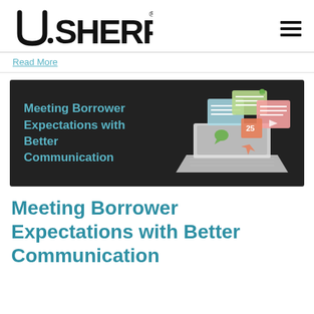U.SHERPA
Read More
[Figure (illustration): Dark banner with text 'Meeting Borrower Expectations with Better Communication' and a laptop graphic with floating UI elements (chat bubbles, calendar, video icons) in blue, green, and red tones.]
Meeting Borrower Expectations with Better Communication